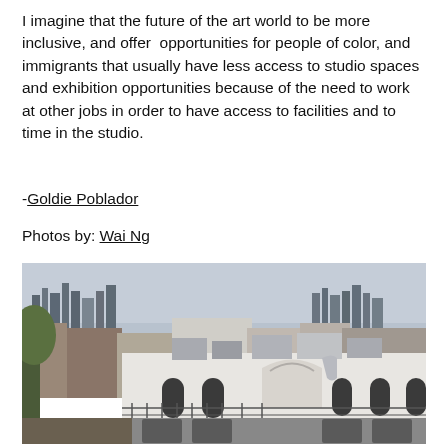I imagine that the future of the art world to be more inclusive, and offer  opportunities for people of color, and immigrants that usually have less access to studio spaces and exhibition opportunities because of the need to work at other jobs in order to have access to facilities and to time in the studio.
-Goldie Poblador
Photos by: Wai Ng
[Figure (photo): Rooftop view of a white brick building with arched windows and industrial HVAC equipment on the roof, with a city skyline visible in the background under an overcast sky.]